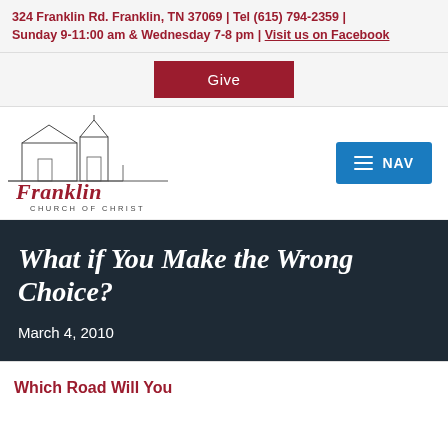324 Franklin Rd. Franklin, TN 37069 | Tel (615) 794-2359 | Sunday 9-11:00 am & Wednesday 7-8 pm | Visit us on Facebook
Give
[Figure (logo): Franklin Church of Christ logo with building sketch and cursive Franklin script]
NAV
What if You Make the Wrong Choice?
March 4, 2010
Which Road Will You